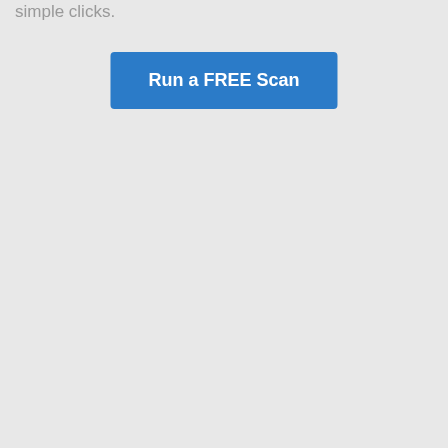simple clicks.
[Figure (screenshot): A blue button labeled 'Run a FREE Scan' on a light gray background]